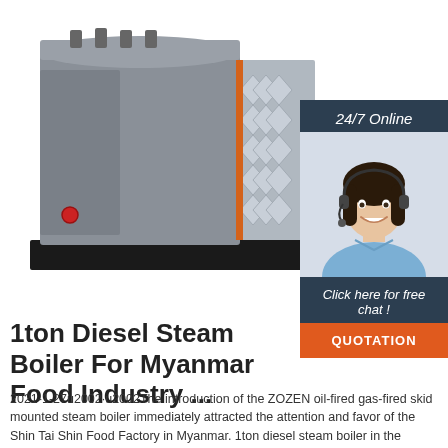[Figure (photo): Industrial steam boiler unit — large grey metal boiler with geometric diamond-pattern insulation panels on the side and an orange-accented front section, on a black base frame. White background.]
[Figure (photo): Customer service sidebar panel with dark navy background. Top section says '24/7 Online' in white italic text. Middle section shows a smiling woman with dark hair wearing a headset and blue shirt. Bottom section has italic white text 'Click here for free chat !' and an orange button labeled 'QUOTATION'.]
1ton Diesel Steam Boiler For Myanmar Food Industry ...
2021-1-27u2002·u2002The introduction of the ZOZEN oil-fired gas-fired skid mounted steam boiler immediately attracted the attention and favor of the Shin Tai Shin Food Factory in Myanmar. 1ton diesel steam boiler in the factory, completed follow-up skid mounted boiler...